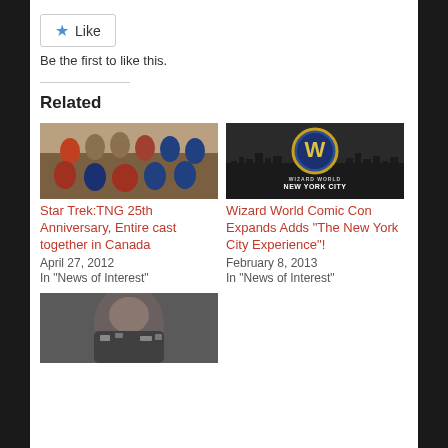[Figure (screenshot): Like button widget with star icon]
Be the first to like this.
Related
[Figure (photo): Star Trek TNG cast photo]
Star Trek:TNG 25th Anniversary, Entire cast together in Canada
April 27, 2012
In "News of Interest"
[Figure (logo): Wizard World New York City Experience logo with city skyline silhouette]
Wizard World Comic Con Expands Adds “The New York City Experience”!
February 8, 2013
In "News of Interest"
[Figure (photo): Partially visible photo of a sci-fi armored character]